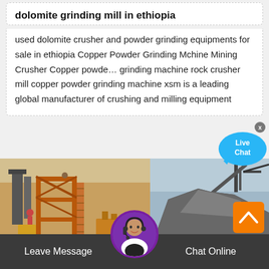dolomite grinding mill in ethiopia
used dolomite crusher and powder grinding equipments for sale in ethiopia Copper Powder Grinding Mchine Mining Crusher Copper powde… grinding machine rock crusher mill copper powder grinding machine xsm is a leading global manufacturer of crushing and milling equipment
[Figure (photo): Left: industrial crushing/milling equipment structure with orange metal framework and stairs. Right: large pile of crushed aggregate/gravel with conveyor equipment in background.]
Leave Message
Chat Online